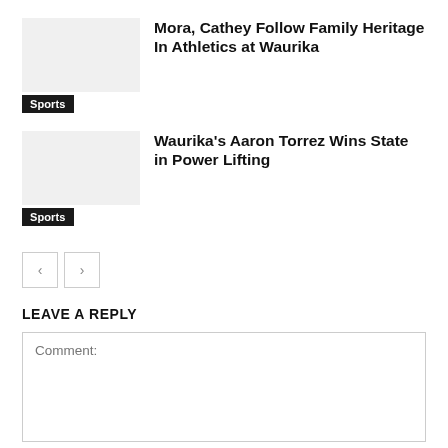Mora, Cathey Follow Family Heritage In Athletics at Waurika
Sports
Waurika's Aaron Torrez Wins State in Power Lifting
Sports
LEAVE A REPLY
Comment: